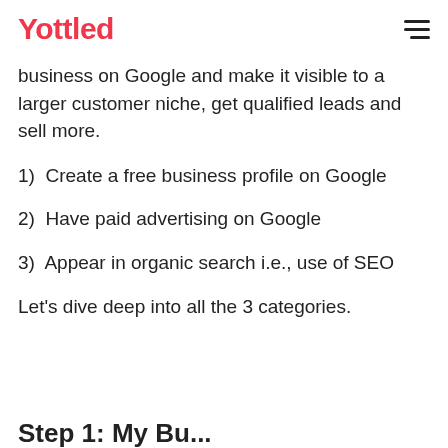the answer changes depending on your
Yottled
business on Google and make it visible to a larger customer niche, get qualified leads and sell more.
1)  Create a free business profile on Google
2)  Have paid advertising on Google
3)  Appear in organic search i.e., use of SEO
Let's dive deep into all the 3 categories.